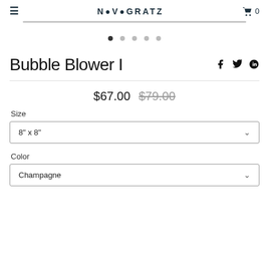≡  NOVOGRATZ  🛒 0
[Figure (other): Horizontal grey slider/progress bar and image carousel dots indicator with 5 dots, first dot active (dark), rest grey]
Bubble Blower I
$67.00  $79.00 (strikethrough)
Size
8" x 8"
Color
Champagne